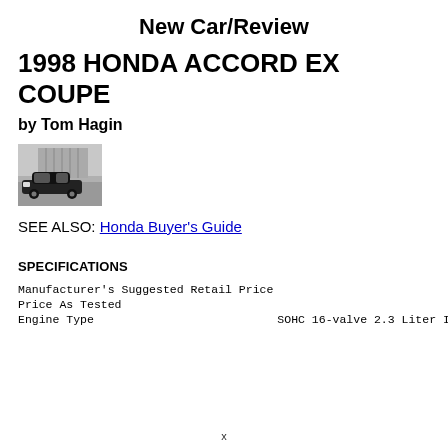New Car/Review
1998 HONDA ACCORD EX COUPE
by Tom Hagin
[Figure (photo): Black and white photo of a Honda Accord EX Coupe parked outside a building]
SEE ALSO: Honda Buyer's Guide
SPECIFICATIONS
| Manufacturer's Suggested Retail Price | $ 21,6 |
| Price As Tested | $ 22,0 |
| Engine Type | SOHC 16-valve 2.3 Liter I4 w/MPP |
x